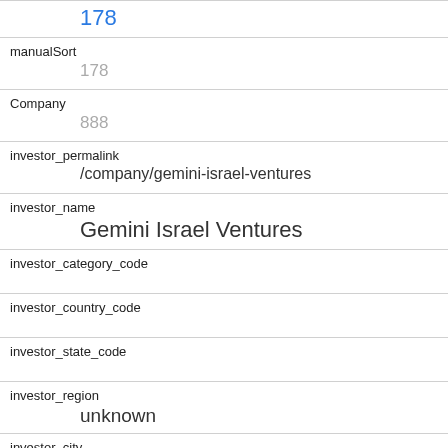178
manualSort
178
Company
888
investor_permalink
/company/gemini-israel-ventures
investor_name
Gemini Israel Ventures
investor_category_code
investor_country_code
investor_state_code
investor_region
unknown
investor_city
funding_round_type
series_a